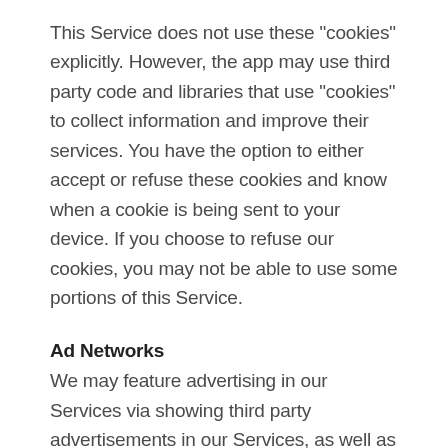This Service does not use these "cookies" explicitly. However, the app may use third party code and libraries that use "cookies" to collect information and improve their services. You have the option to either accept or refuse these cookies and know when a cookie is being sent to your device. If you choose to refuse our cookies, you may not be able to use some portions of this Service.
Ad Networks
We may feature advertising in our Services via showing third party advertisements in our Services, as well as advertise our own Services via third